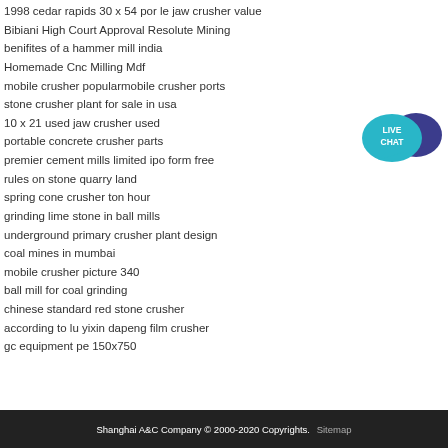1998 cedar rapids 30 x 54 por le jaw crusher value
Bibiani High Court Approval Resolute Mining
benifites of a hammer mill india
Homemade Cnc Milling Mdf
mobile crusher popularmobile crusher ports
stone crusher plant for sale in usa
10 x 21 used jaw crusher used
portable concrete crusher parts
premier cement mills limited ipo form free
rules on stone quarry land
spring cone crusher ton hour
grinding lime stone in ball mills
underground primary crusher plant design
coal mines in mumbai
mobile crusher picture 340
ball mill for coal grinding
chinese standard red stone crusher
according to lu yixin dapeng film crusher
gc equipment pe 150x750
[Figure (illustration): Live Chat button widget with teal speech bubble and dark blue chat icon]
Shanghai A&C Company © 2000-2020 Copyrights.  Sitemap